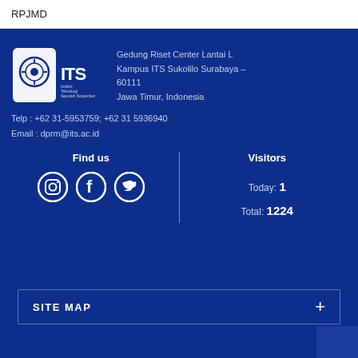RPJMD
[Figure (logo): ITS (Institut Teknologi Sepuluh Nopember) logo with shield emblem and ITS wordmark]
Gedung Riset Center Lantai L
Kampus ITS Sukolilo Surabaya – 60111
Jawa Timur, Indonesia
Telp : +62 31-5953759; +62 31 5936940
Email : dprm@its.ac.id
Find us
[Figure (infographic): Social media icons: Instagram, Facebook, Twitter]
Visitors
Today: 1
Total: 1224
SITE MAP +